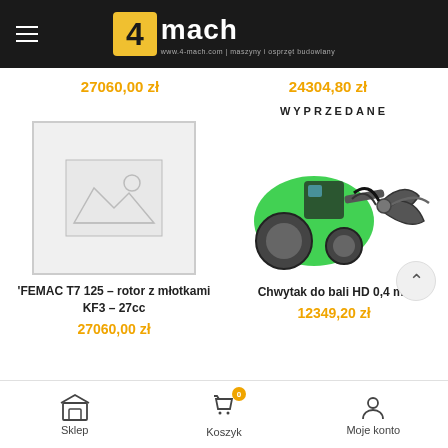[Figure (logo): 4mach logo with yellow square containing '4' and white 'mach' text on dark background]
27060,00 zł
24304,80 zł
[Figure (photo): Placeholder image (no photo available) for FEMAC T7 125 product]
[Figure (photo): Green tractor with Chwytak do bali HD 0,4 m2 attachment (log grapple)]
WYPRZEDANE
'FEMAC T7 125 – rotor z młotkami KF3 – 27cc
27060,00 zł
Chwytak do bali HD 0,4 m2
12349,20 zł
Sklep | Koszyk | Moje konto